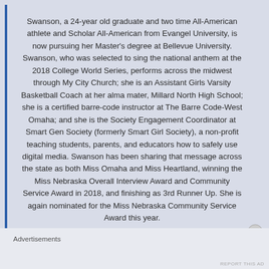Swanson, a 24-year old graduate and two time All-American athlete and Scholar All-American from Evangel University, is now pursuing her Master's degree at Bellevue University. Swanson, who was selected to sing the national anthem at the 2018 College World Series, performs across the midwest through My City Church; she is an Assistant Girls Varsity Basketball Coach at her alma mater, Millard North High School; she is a certified barre-code instructor at The Barre Code-West Omaha; and she is the Society Engagement Coordinator at Smart Gen Society (formerly Smart Girl Society), a non-profit teaching students, parents, and educators how to safely use digital media. Swanson has been sharing that message across the state as both Miss Omaha and Miss Heartland, winning the Miss Nebraska Overall Interview Award and Community Service Award in 2018, and finishing as 3rd Runner Up. She is again nominated for the Miss Nebraska Community Service Award this year.
Advertisements
Advertisements